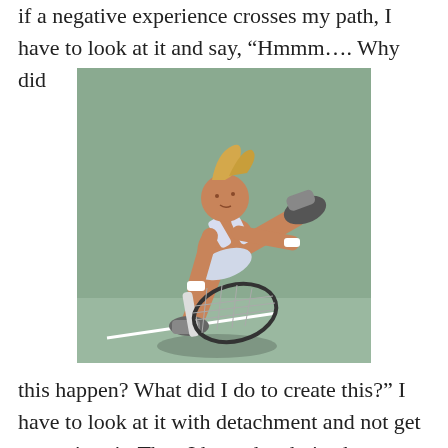if a negative experience crosses my path, I have to look at it and say, “Hmmm…. Why did
[Figure (photo): A female tennis player in athletic gear bending low on a tennis court, holding a racket, in an action pose during a match.]
this happen? What did I do to create this?” I have to look at it with detachment and not get swept into it. Then I have the choice how to react or not react. But however I react,